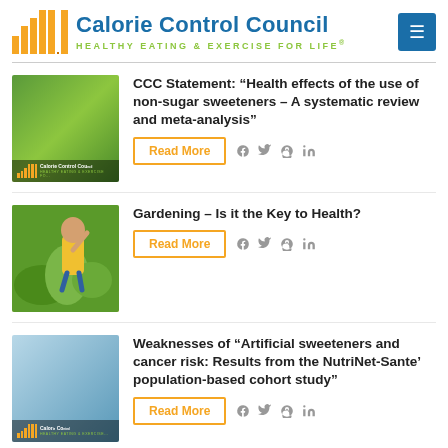[Figure (logo): Calorie Control Council logo with orange bar graphic and blue text, subtitle 'HEALTHY EATING & EXERCISE FOR LIFE']
[Figure (photo): Thumbnail image with Calorie Control Council branding on green background, showing medical/nutrition scene]
CCC Statement: “Health effects of the use of non-sugar sweeteners – A systematic review and meta-analysis”
[Figure (photo): Thumbnail image showing a child in yellow shirt gardening with plants]
Gardening – Is it the Key to Health?
[Figure (photo): Thumbnail image with Calorie Control Council branding on blue/teal background, medical scene]
Weaknesses of “Artificial sweeteners and cancer risk: Results from the NutriNet-Sante’ population-based cohort study”